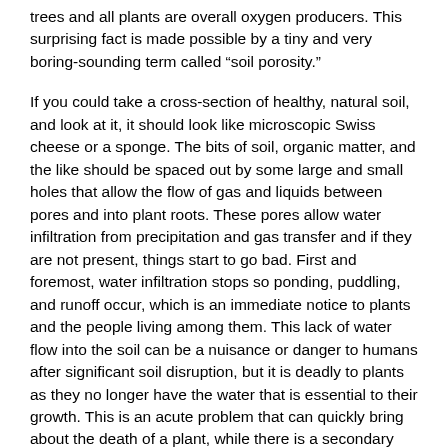trees and all plants are overall oxygen producers. This surprising fact is made possible by a tiny and very boring-sounding term called “soil porosity.”
If you could take a cross-section of healthy, natural soil, and look at it, it should look like microscopic Swiss cheese or a sponge. The bits of soil, organic matter, and the like should be spaced out by some large and small holes that allow the flow of gas and liquids between pores and into plant roots. These pores allow water infiltration from precipitation and gas transfer and if they are not present, things start to go bad. First and foremost, water infiltration stops so ponding, puddling, and runoff occur, which is an immediate notice to plants and the people living among them. This lack of water flow into the soil can be a nuisance or danger to humans after significant soil disruption, but it is deadly to plants as they no longer have the water that is essential to their growth. This is an acute problem that can quickly bring about the death of a plant, while there is a secondary problem that can take much longer to kill a tree.
While water is the most essential occupier of soil pores, it can still find its way into even heavily damaged soils thanks to its own that takes it naturally into the soil via gravity and the